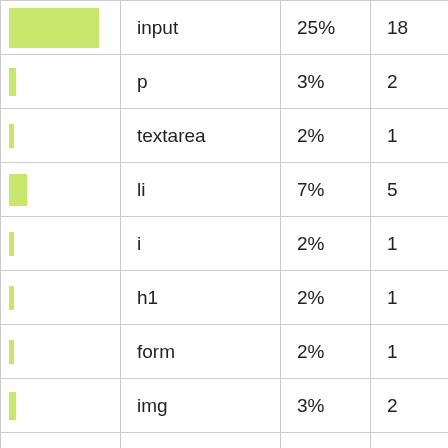| (bar) | tag | percent | count |
| --- | --- | --- | --- |
| input bar (large) | input | 25% | 18 |
| p bar (small) | p | 3% | 2 |
| textarea bar (tiny) | textarea | 2% | 1 |
| li bar (medium) | li | 7% | 5 |
| i bar (tiny) | i | 2% | 1 |
| h1 bar (tiny) | h1 | 2% | 1 |
| form bar (tiny) | form | 2% | 1 |
| img bar (tiny) | img | 3% | 2 |
| br bar (tiny) | br | 2% | 1 |
| a bar (tiny) | a | 2% | 1 |
| script bar (tiny) | script | 2% | 1 |